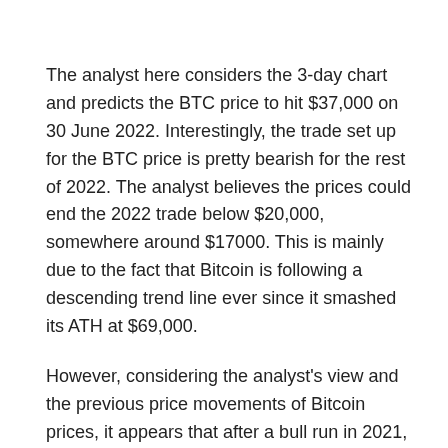The analyst here considers the 3-day chart and predicts the BTC price to hit $37,000 on 30 June 2022. Interestingly, the trade set up for the BTC price is pretty bearish for the rest of 2022. The analyst believes the prices could end the 2022 trade below $20,000, somewhere around $17000. This is mainly due to the fact that Bitcoin is following a descending trend line ever since it smashed its ATH at $69,000.
However, considering the analyst's view and the previous price movements of Bitcoin prices, it appears that after a bull run in 2021, 2022 could be an exhaustive phase. It is mirroring what exactly happened during and after the 2017-18 bull rally. After the BTC price slashed hard reaching the highs close to $20,000, the star crypto consolidated for a couple of